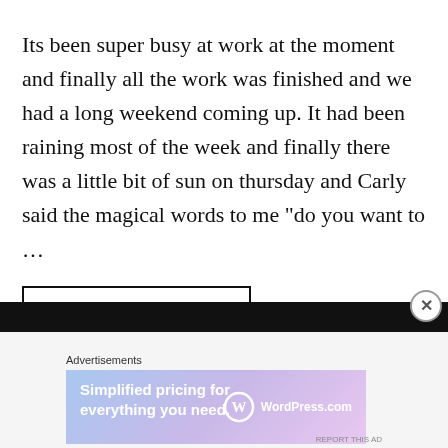Its been super busy at work at the moment and finally all the work was finished and we had a long weekend coming up. It had been raining most of the week and finally there was a little bit of sun on thursday and Carly said the magical words to me "do you want to …
CONTINUE READING →
Advertisements
[Figure (other): WordPress.com advertisement banner with gradient background (blue to purple/pink). Text: 'Simplified pricing for everything you need.' with WordPress.com logo.]